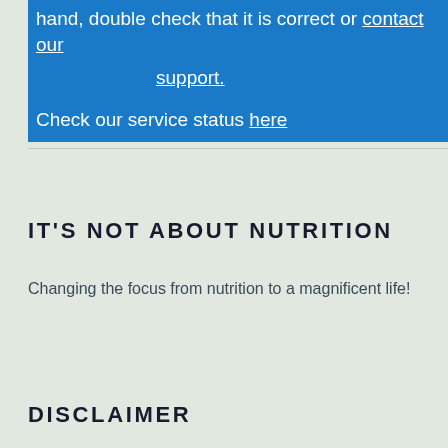hand, double check that it is correct or contact our support.
Check our service status here
IT'S NOT ABOUT NUTRITION
Changing the focus from nutrition to a magnificent life!
DISCLAIMER